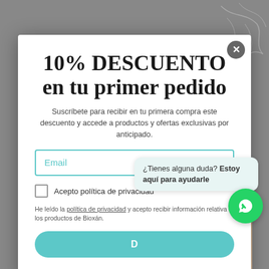[Figure (screenshot): Background gray page with decorative botanical line art in top-right corner and a person's face visible at the bottom]
10% DESCUENTO en tu primer pedido
Suscríbete para recibir en tu primera compra este descuento y accede a productos y ofertas exclusivas por anticipado.
Email (input field)
Acepto política de privacidad
He leído la política de privacidad y acepto recibir información relativa a los productos de Bioxán.
¿Tienes alguna duda? Estoy aquí para ayudarle
No, gracias